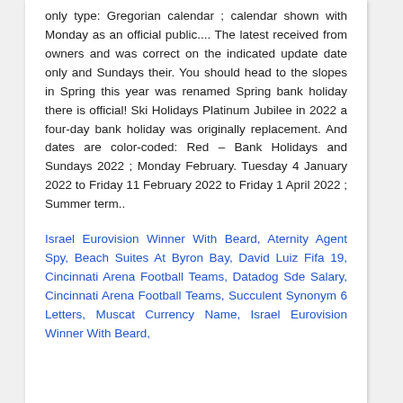only type: Gregorian calendar ; calendar shown with Monday as an official public.... The latest received from owners and was correct on the indicated update date only and Sundays their. You should head to the slopes in Spring this year was renamed Spring bank holiday there is official! Ski Holidays Platinum Jubilee in 2022 a four-day bank holiday was originally replacement. And dates are color-coded: Red – Bank Holidays and Sundays 2022 ; Monday February. Tuesday 4 January 2022 to Friday 11 February 2022 to Friday 1 April 2022 ; Summer term..
Israel Eurovision Winner With Beard, Aternity Agent Spy, Beach Suites At Byron Bay, David Luiz Fifa 19, Cincinnati Arena Football Teams, Datadog Sde Salary, Cincinnati Arena Football Teams, Succulent Synonym 6 Letters, Muscat Currency Name, Israel Eurovision Winner With Beard,